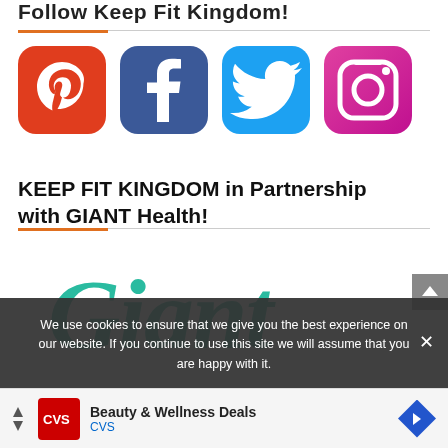Follow Keep Fit Kingdom!
[Figure (logo): Social media icons: Pinterest (red), Facebook (blue), Twitter (light blue), Instagram (pink/magenta)]
KEEP FIT KINGDOM in Partnership with GIANT Health!
[Figure (logo): GIANT Health logo in teal/turquoise cursive lettering]
We use cookies to ensure that we give you the best experience on our website. If you continue to use this site we will assume that you are happy with it.
[Figure (logo): CVS Pharmacy advertisement: Beauty & Wellness Deals]